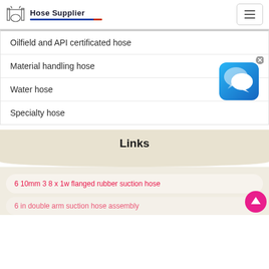Hose Supplier
Oilfield and API certificated hose
Material handling hose
Water hose
Specialty hose
Links
6 10mm 3 8 x 1w flanged rubber suction hose